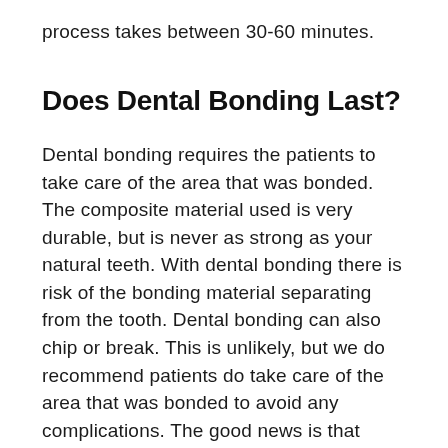process takes between 30-60 minutes.
Does Dental Bonding Last?
Dental bonding requires the patients to take care of the area that was bonded. The composite material used is very durable, but is never as strong as your natural teeth. With dental bonding there is risk of the bonding material separating from the tooth. Dental bonding can also chip or break. This is unlikely, but we do recommend patients do take care of the area that was bonded to avoid any complications. The good news is that dental bonding can be repaired. Dental bonding can last between 5-10 years or longer if taken care of properly.